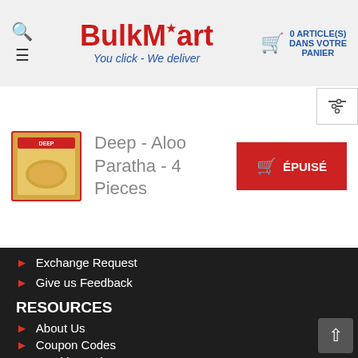BulkMart — You click - We deliver | 0 ARTICLE(S) DANS VOTRE PANIER
[Figure (logo): BulkMart logo with maple leaf, tagline 'You click - We deliver']
Deep - Aloo Paratha - 4 Pieces
[Figure (photo): Product image of Deep Aloo Paratha 4 Pieces packaging]
ÉPUISÉ
Exchange Request
Give us Feedback
RESOURCES
About Us
Coupon Codes
Weekly Deals
COMPANY POLICIES